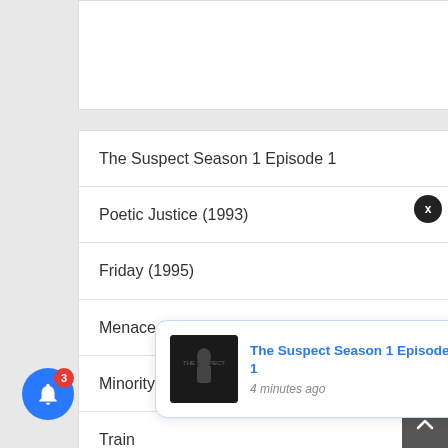[Figure (screenshot): Blank white card at top of list]
The Suspect Season 1 Episode 1
Poetic Justice (1993)
Friday (1995)
Menace II Society (1993)
Minority Report (2002)
Train...
X (2022)
[Figure (screenshot): Notification popup showing 'The Suspect Season 1 Episode 1' with thumbnail, blue text title, and '4 minutes ago' timestamp. Blue notification bell with badge '3' in bottom left. X close button top right of popup. Scroll-to-top arrow button bottom right.]